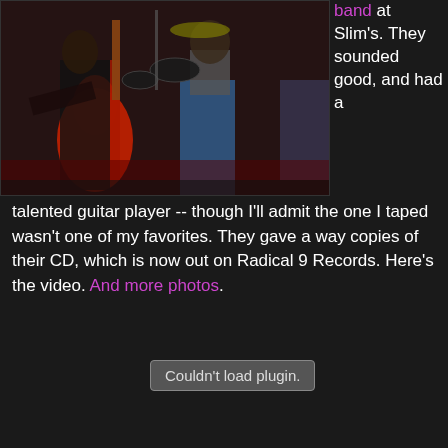[Figure (photo): Band performing on stage at Slim's, showing guitar players and drummer with red guitar visible in foreground]
band at Slim's. They sounded good, and had a talented guitar player -- though I'll admit the one I taped wasn't one of my favorites. They gave a way copies of their CD, which is now out on Radical 9 Records. Here's the video. And more photos.
Couldn't load plugin.